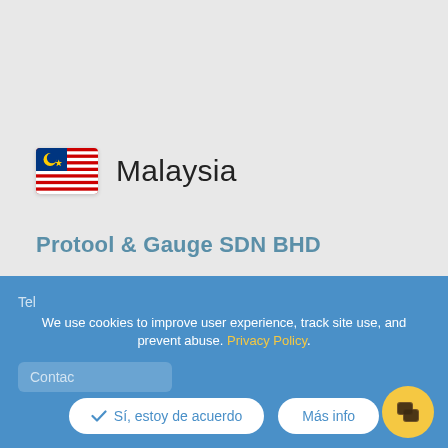[Figure (illustration): Malaysian national flag — red and white horizontal stripes with blue canton containing yellow crescent and star]
Malaysia
Protool & Gauge SDN BHD
3-1 Jalan Putra Mahkota 7/7B
Putra Heights
47650 Subang Jaya
Selangor D.E.
Malaysia
We use cookies to improve user experience, track site use, and prevent abuse. Privacy Policy.
Sí, estoy de acuerdo
Más info